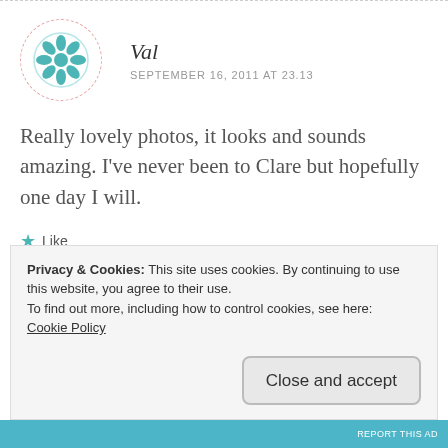[Figure (illustration): Teal geometric mandala/snowflake avatar icon inside a dashed circular border]
Val
SEPTEMBER 16, 2011 AT 23.13
Really lovely photos, it looks and sounds amazing. I've never been to Clare but hopefully one day I will.
★ Like
Privacy & Cookies: This site uses cookies. By continuing to use this website, you agree to their use.
To find out more, including how to control cookies, see here:
Cookie Policy
Close and accept